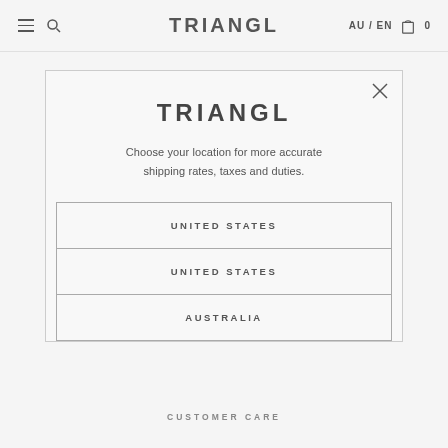TRIANGL — AU / EN — 0
TRIANGL
Choose your location for more accurate shipping rates, taxes and duties.
UNITED STATES
UNITED STATES
AUSTRALIA
CUSTOMER CARE